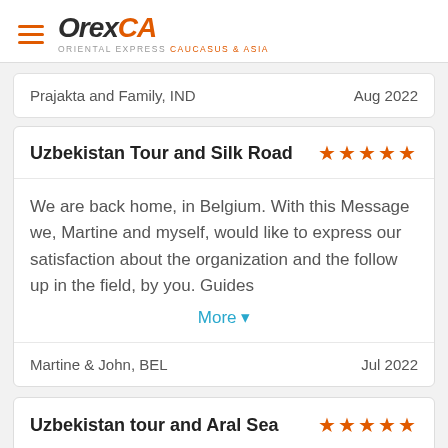[Figure (logo): OrexCA logo with hamburger menu icon. Orex in dark italic bold, CA in orange italic bold, subtitle: ORIENTAL EXPRESS CAUCASUS & ASIA]
Prajakta and Family, IND	Aug 2022
Uzbekistan Tour and Silk Road ★★★★★
We are back home, in Belgium. With this Message we, Martine and myself, would like to express our satisfaction about the organization and the follow up in the field, by you. Guides
More ▾
Martine & John, BEL	Jul 2022
Uzbekistan tour and Aral Sea ★★★★★